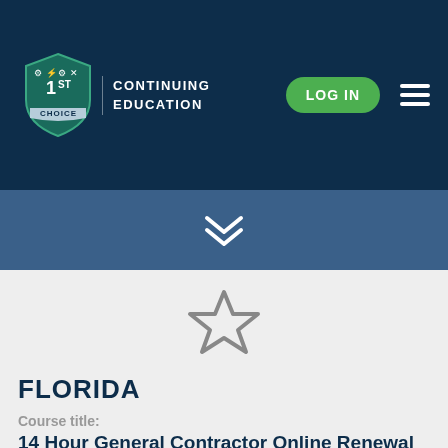[Figure (logo): 1st Choice Continuing Education logo with shield and trade icons]
CONTINUING EDUCATION
[Figure (illustration): LOG IN button (green pill shape)]
[Figure (illustration): Hamburger menu icon (three horizontal lines)]
[Figure (illustration): Navigation bar with downward chevron/arrow]
[Figure (illustration): Outline star icon (favorite/bookmark indicator)]
FLORIDA
Course title:
14 Hour General Contractor Online Renewal